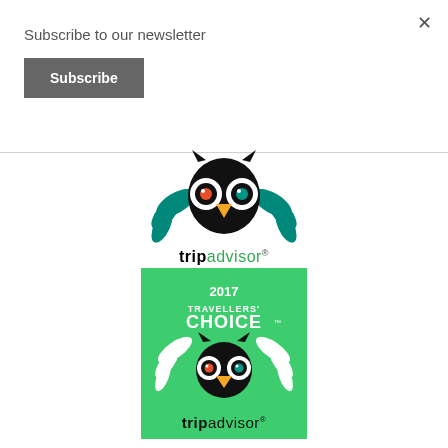Subscribe to our newsletter
[Figure (other): Subscribe button (dark grey rounded rectangle with white text 'Subscribe')]
[Figure (logo): TripAdvisor owl logo with teal/green laurel leaves, yellow beak, orange and teal eyes. 'tripadvisor' text below with registered trademark symbol, 'trip' in black bold, 'advisor' in green.]
[Figure (logo): TripAdvisor 2017 Travellers' Choice badge on green background. White laurel wreath, white owl logo, text '2017 TRAVELLERS' CHOICE' in white. 'tripadvisor' text below in black and green on green background.]